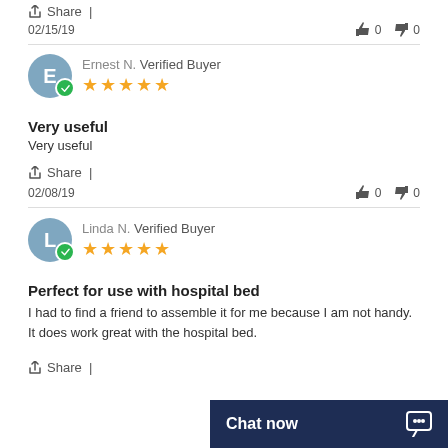Share |
02/15/19  👍 0  👎 0
Ernest N. Verified Buyer ★★★★★
Very useful
Very useful
Share |
02/08/19  👍 0  👎 0
Linda N. Verified Buyer ★★★★★
Perfect for use with hospital bed
I had to find a friend to assemble it for me because I am not handy. It does work great with the hospital bed.
Share |
Chat now